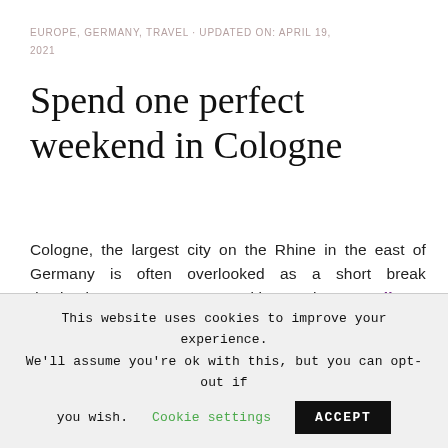EUROPE, GERMANY, TRAVEL · UPDATED ON: APRIL 19, 2021
Spend one perfect weekend in Cologne
Cologne, the largest city on the Rhine in the east of Germany is often overlooked as a short break destination. Larger German cities such as Berlin or Munich instead attracting millions of visitors each year.
This website uses cookies to improve your experience. We'll assume you're ok with this, but you can opt-out if you wish.  Cookie settings  ACCEPT